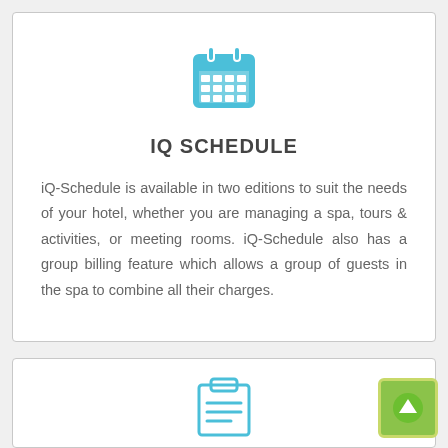[Figure (illustration): Blue calendar icon]
IQ SCHEDULE
iQ-Schedule is available in two editions to suit the needs of your hotel, whether you are managing a spa, tours & activities, or meeting rooms. iQ-Schedule also has a group billing feature which allows a group of guests in the spa to combine all their charges.
[Figure (illustration): Blue clipboard icon at bottom of page]
[Figure (illustration): Green circle with upward arrow button]